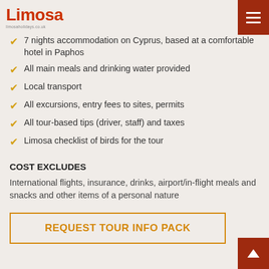Limosa
7 nights accommodation on Cyprus, based at a comfortable hotel in Paphos
All main meals and drinking water provided
Local transport
All excursions, entry fees to sites, permits
All tour-based tips (driver, staff) and taxes
Limosa checklist of birds for the tour
COST EXCLUDES
International flights, insurance, drinks, airport/in-flight meals and snacks and other items of a personal nature
REQUEST TOUR INFO PACK